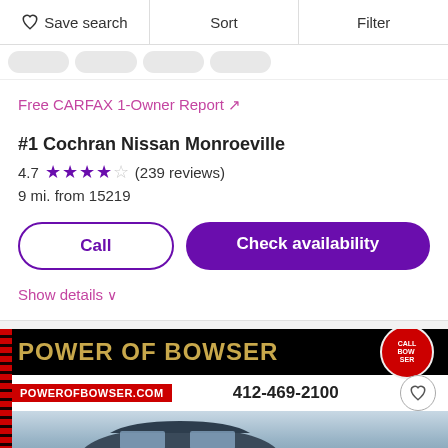♡ Save search    Sort    Filter
Free CARFAX 1-Owner Report ↗
#1 Cochran Nissan Monroeville
4.7 ★★★★☆ (239 reviews)
9 mi. from 15219
Call
Check availability
Show details ∨
[Figure (photo): Power of Bowser dealership advertisement banner with logo, website powerofbowser.com, phone number 412-469-2100, and a car photo]
POWER OF BOWSER
POWEROFBOWSER.COM  412-469-2100